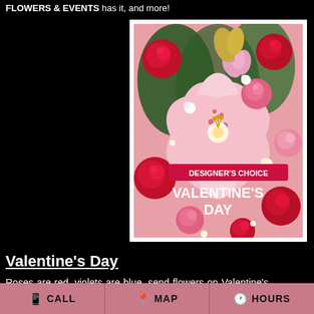FLOWERS & EVENTS has it, and more!
[Figure (photo): Valentine's Day Designer's Choice flower bouquet with red roses, pink lilies, and other Valentine's flowers on a pink background. Text overlay reads 'DESIGNER'S CHOICE VALENTINE'S DAY'.]
Valentine's Day
Roses are red, violets are blue, send flowers on Valentine's Day and you won't be blue too. Nothing means more to your sweetheart than surprises. On Valentines Day, surprise her with
CALL   MAP   HOURS